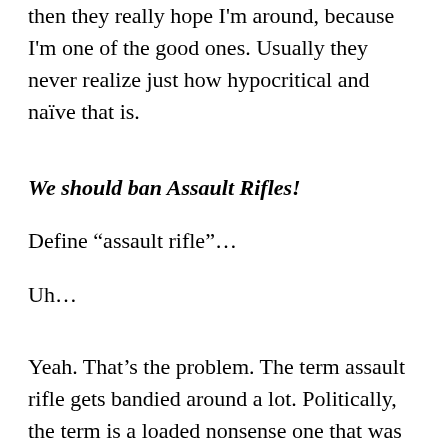then they really hope I'm around, because I'm one of the good ones. Usually they never realize just how hypocritical and naïve that is.
We should ban Assault Rifles!
Define “assault rifle”…
Uh…
Yeah. That’s the problem. The term assault rifle gets bandied around a lot. Politically, the term is a loaded nonsense one that was created back during the Clinton years. It was one of those tricks where you name legislation something catchy, like PATRIOT Act. (another law rammed through while emotions were high and nobody